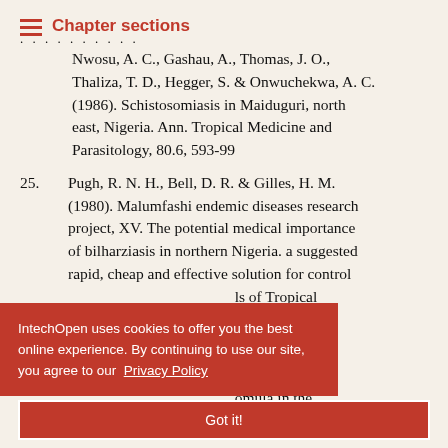Chapter sections
Nwosu, A. C., Gashau, A., Thomas, J. O., Thaliza, T. D., Hegger, S. & Onwuchekwa, A. C. (1986). Schistosomiasis in Maiduguri, north east, Nigeria. Ann. Tropical Medicine and Parasitology, 80.6, 593-99
25. Pugh, R. N. H., Bell, D. R. & Gilles, H. M. (1980). Malumfashi endemic diseases research project, XV. The potential medical importance of bilharziasis in northern Nigeria. a suggested rapid, cheap and effective solution for control [...]ls of Tropical [...] 3
[...] ons, N., [...] enriched [...] omula in the skin of mice immune to S mansoni. American
IntechOpen uses cookies to offer you the best online experience. By continuing to use our site, you agree to our Privacy Policy
Got it!